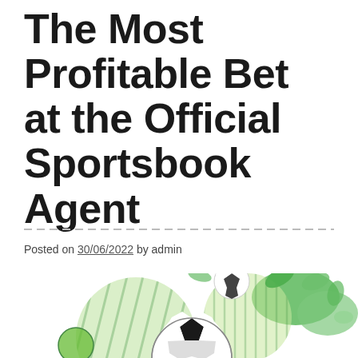The Most Profitable Bet at the Official Sportsbook Agent
Posted on 30/06/2022 by admin
[Figure (illustration): Decorative sports illustration featuring a soccer ball in the foreground with green abstract shapes, leaves, and additional soccer balls in the background, rendered in a green and white color scheme.]